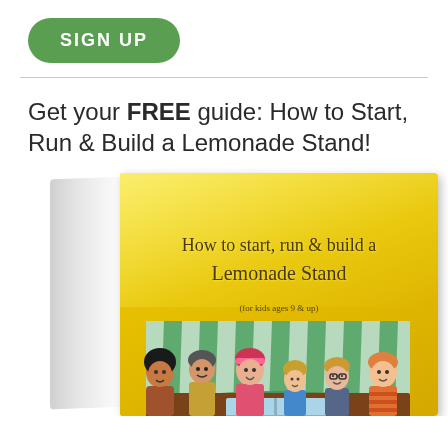SIGN UP
Get your FREE guide: How to Start, Run & Build a Lemonade Stand!
[Figure (illustration): Book cover illustration showing a lemonade stand guide book titled 'How to start, run & build a Lemonade Stand (for kids ages 9 & up)' with a green-and-white striped awning over a brown store front and cartoon children characters at the bottom. The cover has a yellow gradient background.]